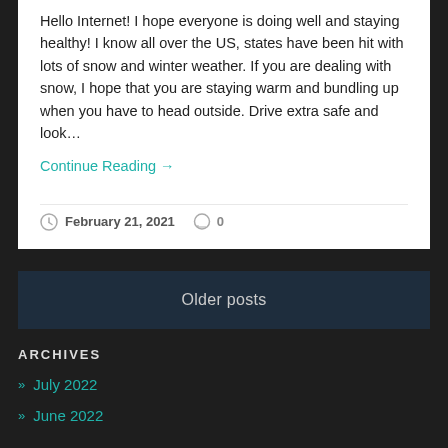Hello Internet! I hope everyone is doing well and staying healthy! I know all over the US, states have been hit with lots of snow and winter weather. If you are dealing with snow, I hope that you are staying warm and bundling up when you have to head outside. Drive extra safe and look…
Continue Reading →
February 21, 2021  0
Older posts
ARCHIVES
July 2022
June 2022